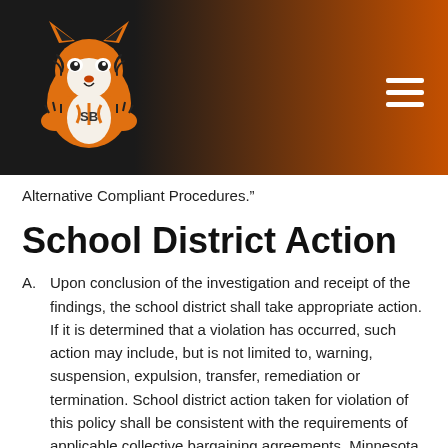[Figure (logo): School mascot logo — orange and black tiger on dark/orange gradient header bar with hamburger menu icon on right]
Alternative Compliant Procedures.”
School District Action
A. Upon conclusion of the investigation and receipt of the findings, the school district shall take appropriate action. If it is determined that a violation has occurred, such action may include, but is not limited to, warning, suspension, expulsion, transfer, remediation or termination. School district action taken for violation of this policy shall be consistent with the requirements of applicable collective bargaining agreements, Minnesota and federal law and school district policies.